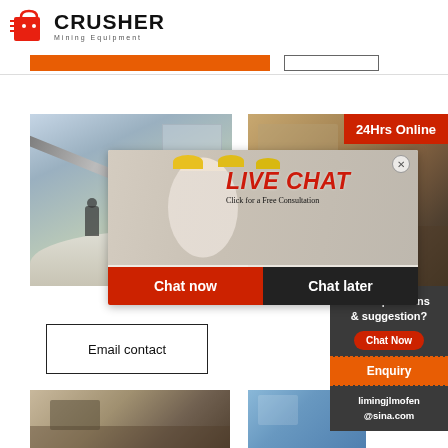[Figure (logo): Crusher Mining Equipment logo with red shopping bag icon and bold text]
[Figure (photo): Orange navigation bar strip and bordered search box at top]
[Figure (photo): Construction site / quarry photo on left, industrial materials photo on right]
[Figure (photo): Live Chat popup overlay with workers in hard hats, LIVE CHAT title, Chat now and Chat later buttons]
[Figure (infographic): 24Hrs Online badge in red]
[Figure (infographic): Right panel: Need questions & suggestion? Chat Now button, Enquiry section, limingjlmofen@sina.com email]
Email contact
[Figure (photo): Bottom left quarry/crusher site photo]
[Figure (photo): Bottom right industrial/blue sky photo]